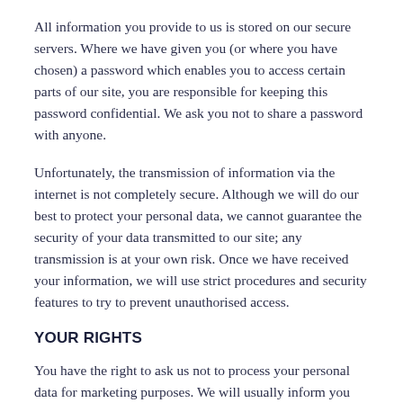All information you provide to us is stored on our secure servers. Where we have given you (or where you have chosen) a password which enables you to access certain parts of our site, you are responsible for keeping this password confidential. We ask you not to share a password with anyone.
Unfortunately, the transmission of information via the internet is not completely secure. Although we will do our best to protect your personal data, we cannot guarantee the security of your data transmitted to our site; any transmission is at your own risk. Once we have received your information, we will use strict procedures and security features to try to prevent unauthorised access.
YOUR RIGHTS
You have the right to ask us not to process your personal data for marketing purposes. We will usually inform you